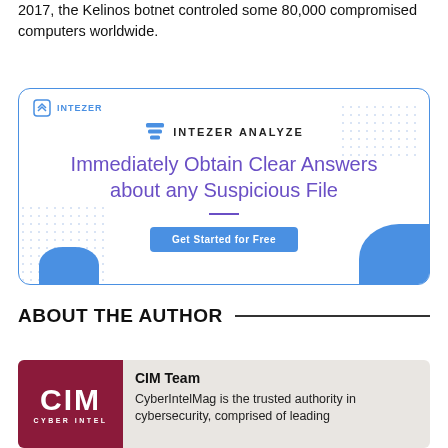2017, the Kelinos botnet controled some 80,000 compromised computers worldwide.
[Figure (advertisement): Intezer Analyze advertisement banner with logo, headline 'Immediately Obtain Clear Answers about any Suspicious File', and 'Get Started for Free' button]
ABOUT THE AUTHOR
[Figure (logo): CIM Cyber Intel Magazine logo - dark red background with white CIM text and CYBER INTEL subtitle]
CIM Team
CyberIntelMag is the trusted authority in cybersecurity, comprised of leading